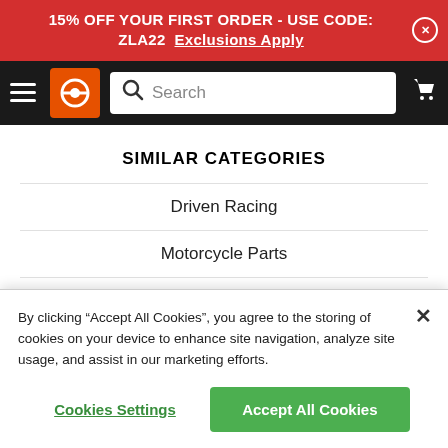15% OFF YOUR FIRST ORDER - USE CODE: ZLA22  Exclusions Apply
[Figure (screenshot): Navigation bar with hamburger menu, orange logo icon, search bar, and cart icon on black background]
SIMILAR CATEGORIES
Driven Racing
Motorcycle Parts
Bike Protection
By clicking “Accept All Cookies”, you agree to the storing of cookies on your device to enhance site navigation, analyze site usage, and assist in our marketing efforts.
Cookies Settings    Accept All Cookies